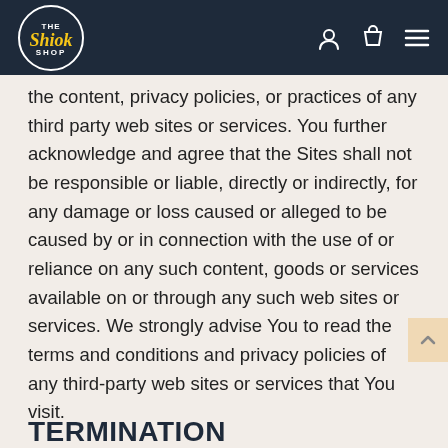The Shiok Shop
the content, privacy policies, or practices of any third party web sites or services. You further acknowledge and agree that the Sites shall not be responsible or liable, directly or indirectly, for any damage or loss caused or alleged to be caused by or in connection with the use of or reliance on any such content, goods or services available on or through any such web sites or services. We strongly advise You to read the terms and conditions and privacy policies of any third-party web sites or services that You visit.
TERMINATION